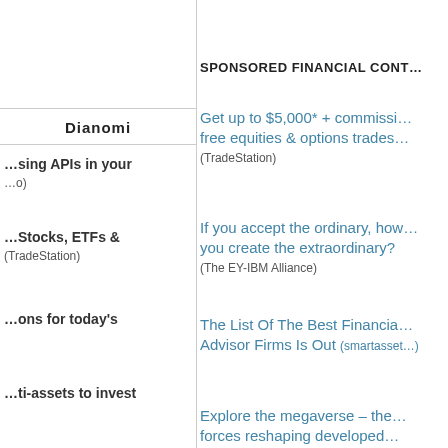SPONSORED FINANCIAL CONT…
Dianomi
…sing APIs in your
…o)
(TradeStation)
…Stocks, ETFs &
(TradeStation)
…ons for today's
…ti-assets to invest
Get up to $5,000* + commissi… free equities & options trades…
(TradeStation)
If you accept the ordinary, how… you create the extraordinary?
(The EY-IBM Alliance)
The List Of The Best Financia… Advisor Firms Is Out (smartasset…)
Explore the megaverse – the… forces reshaping developed…